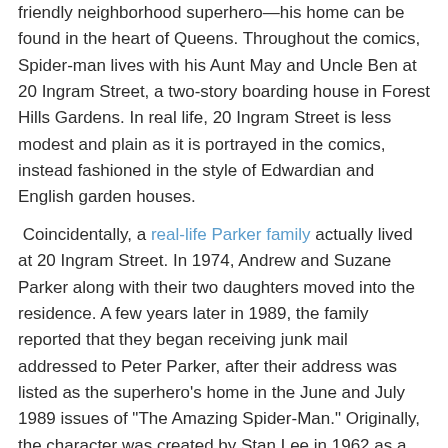friendly neighborhood superhero—his home can be found in the heart of Queens. Throughout the comics, Spider-man lives with his Aunt May and Uncle Ben at 20 Ingram Street, a two-story boarding house in Forest Hills Gardens. In real life, 20 Ingram Street is less modest and plain as it is portrayed in the comics, instead fashioned in the style of Edwardian and English garden houses.
Coincidentally, a real-life Parker family actually lived at 20 Ingram Street. In 1974, Andrew and Suzane Parker along with their two daughters moved into the residence. A few years later in 1989, the family reported that they began receiving junk mail addressed to Peter Parker, after their address was listed as the superhero's home in the June and July 1989 issues of "The Amazing Spider-Man." Originally, the character was created by Stan Lee in 1962 as a Forest Hills resident, but his official address was never pinpointed by the comic book legend, instead being added years later by writer David Michelinie. However, it would not be until the family was told by a reporter from the "Queens Tribune" during the summer of 2001 that they realized how their lives shockingly mirrored that of one of